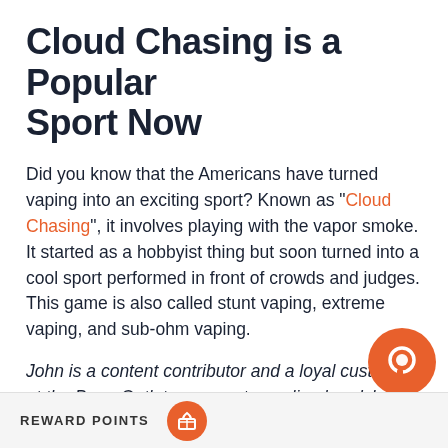Cloud Chasing is a Popular Sport Now
Did you know that the Americans have turned vaping into an exciting sport? Known as "Cloud Chasing", it involves playing with the vapor smoke. It started as a hobbyist thing but soon turned into a cool sport performed in front of crowds and judges. This game is also called stunt vaping, extreme vaping, and sub-ohm vaping.
John is a content contributor and a loyal customer at the Bong Outlet—a one-stop online headshop in the US. The online bong store is famous for selling high quality, cool bongs, bubblers, vaporizers, and other smoking accessories at affordable prices. Visit Bong Outlet